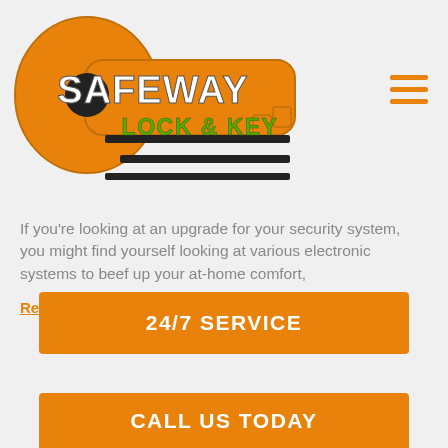[Figure (logo): Safeway Lock & Key logo — orange key shape with 'SAFEWAY' in white block letters and 'LOCK & KEY' in green letters on the key blade, with black horizontal bars]
If you're looking at an upgrade for your security system, you might find yourself looking at various electronic systems to beef up your at-home comfort,
Read More
24/7 SERVICE
CALL US TODAY